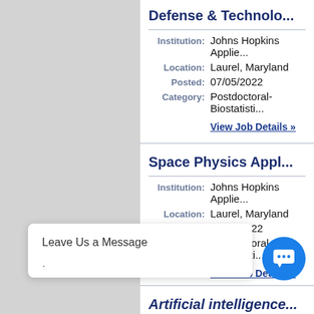Defense & Technolo...
Institution: Johns Hopkins Applie...
Location: Laurel, Maryland
Posted: 07/05/2022
Category: Postdoctoral-Biostatisti...
View Job Details »
Space Physics Appl...
Institution: Johns Hopkins Applie...
Location: Laurel, Maryland
Posted: 07/05/2022
Category: Postdoctoral-Biostatisti...
View Job Details »
Leave Us a Message
Artificial intelligence...